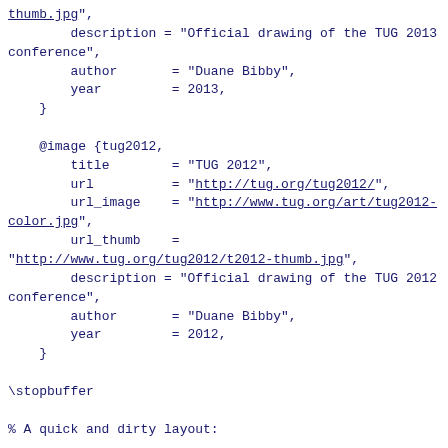thumb.jpg",
            description = "Official drawing of the TUG 2013
conference",
            author       = "Duane Bibby",
            year         = 2013,
    }

    @image {tug2012,
            title        = "TUG 2012",
            url          = "http://tug.org/tug2012/",
            url_image    = "http://www.tug.org/art/tug2012-color.jpg",
            url_thumb    =
"http://www.tug.org/tug2012/t2012-thumb.jpg",
            description = "Official drawing of the TUG 2012
conference",
            author       = "Duane Bibby",
            year         = 2012,
    }

\stopbuffer

% A quick and dirty layout:

\usemodule
  [article]

\setupinteraction
  [state=start]